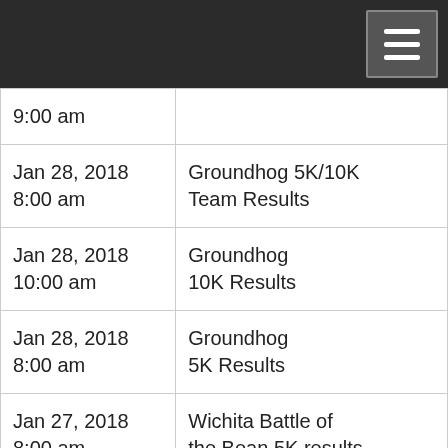| Date/Time | Event |
| --- | --- |
| 9:00 am |  |
| Jan 28, 2018
8:00 am | Groundhog 5K/10K Team Results |
| Jan 28, 2018
10:00 am | Groundhog 10K Results |
| Jan 28, 2018
8:00 am | Groundhog 5K Results |
| Jan 27, 2018
8:00 am | Wichita Battle of the Bean 5K results |
| Jan 20, 2018 | Battle of the Bean 5K & |